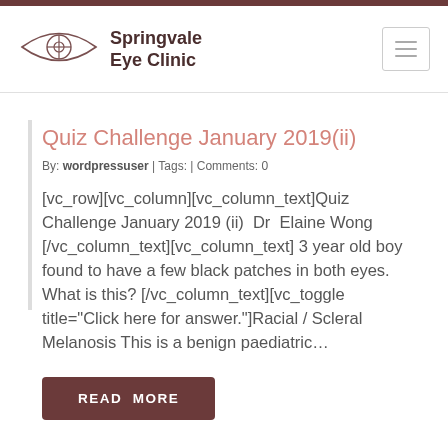[Figure (logo): Springvale Eye Clinic logo: stylized eye outline with crosshair/target in the pupil, next to the text 'Springvale Eye Clinic']
Quiz Challenge January 2019(ii)
By: wordpressuser  |  Tags:  | Comments: 0
[vc_row][vc_column][vc_column_text]Quiz Challenge January 2019 (ii)  Dr  Elaine Wong [/vc_column_text][vc_column_text] 3 year old boy found to have a few black patches in both eyes. What is this? [/vc_column_text][vc_toggle title="Click here for answer."]Racial / Scleral Melanosis This is a benign paediatric...
READ MORE